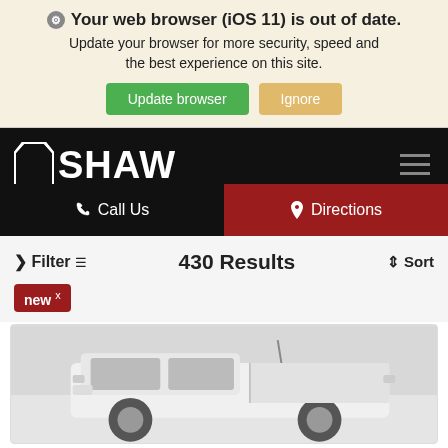Your web browser (iOS 11) is out of date. Update your browser for more security, speed and the best experience on this site. [Update browser] [Ignore]
[Figure (screenshot): Shaw GMC Chevrolet Buick dealership website navigation header on black background with logo, hamburger menu, Call Us and Directions buttons]
> Filter  430 Results  Sort
new x
[Figure (photo): White pickup truck vehicle listing photo, front-side angle view]